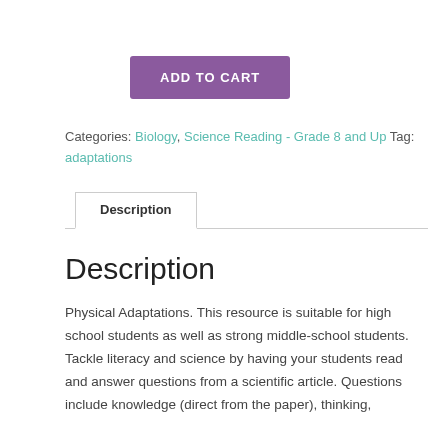[Figure (other): Purple 'ADD TO CART' button]
Categories: Biology, Science Reading - Grade 8 and Up Tag: adaptations
Description
Description
Physical Adaptations. This resource is suitable for high school students as well as strong middle-school students. Tackle literacy and science by having your students read and answer questions from a scientific article. Questions include knowledge (direct from the paper), thinking,